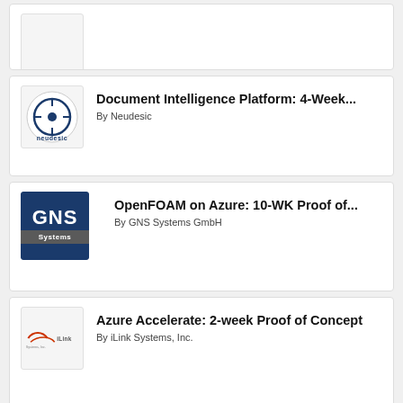[Figure (logo): Partially visible card with logo at top]
[Figure (logo): Neudesic logo - circular icon with compass]
Document Intelligence Platform: 4-Week...
By Neudesic
[Figure (logo): GNS Systems GmbH logo - dark blue square with GNS text and grey Systems bar]
OpenFOAM on Azure: 10-WK Proof of...
By GNS Systems GmbH
[Figure (logo): iLink Systems Inc logo - red swoosh mark]
Azure Accelerate: 2-week Proof of Concept
By iLink Systems, Inc.
[Figure (logo): GNS Systems GmbH logo - dark blue square with GNS text]
HPC with Azure DEC: 10-WK Proof of...
By GNS Systems GmbH